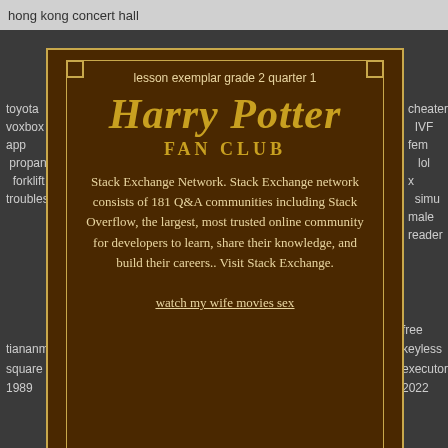hong kong concert hall
toyota
voxbox
app
propane
forklift
troubleshooting
cheater
IVF
fem
lol
x
simu
male
reader
lesson exemplar grade 2 quarter 1
Harry Potter
FAN CLUB
Stack Exchange Network. Stack Exchange network consists of 181 Q&A communities including Stack Overflow, the largest, most trusted online community for developers to learn, share their knowledge, and build their careers.. Visit Stack Exchange.
watch my wife movies sex
tiananmen
square
1989
google pixel themes
free
keyless
executor
2022